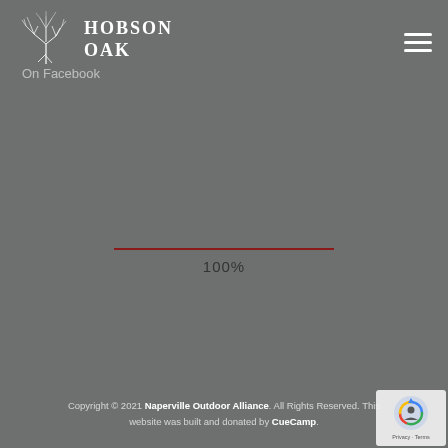[Figure (logo): Hobson Oak logo with tree illustration and text 'Hobson Oak' in white serif font]
On Facebook
[Figure (other): A horizontal dark red/maroon progress bar line at 100% with '100%' text below it]
Copyright © 2021 Naperville Outdoor Alliance. All Rights Reserved. This website was built and donated by CueCamp.